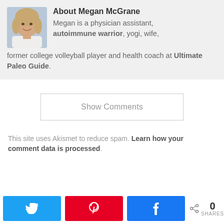[Figure (photo): Headshot photo of Megan McGrane, a smiling woman with blonde hair]
About Megan McGrane
Megan is a physician assistant, autoimmune warrior, yogi, wife, former college volleyball player and health coach at Ultimate Paleo Guide.
Show Comments
This site uses Akismet to reduce spam. Learn how your comment data is processed.
[Figure (other): Social share buttons: Twitter (blue), Pinterest (red), Facebook (blue), and a share icon with 0 SHARES count]